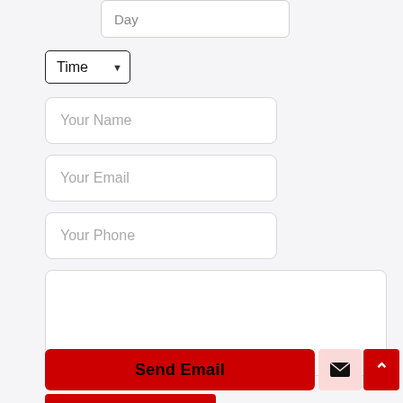Day
Time
Your Name
Your Email
Your Phone
Send Email